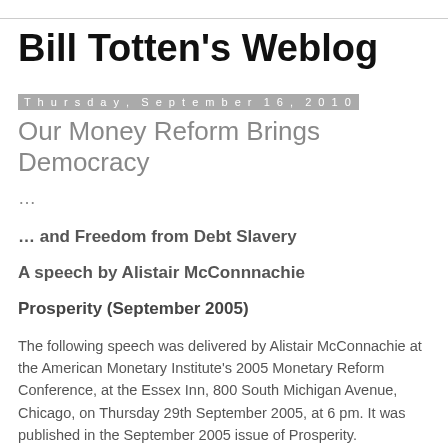Bill Totten's Weblog
Thursday, September 16, 2010
Our Money Reform Brings Democracy
...
... and Freedom from Debt Slavery
A speech by Alistair McConnnachie
Prosperity (September 2005)
The following speech was delivered by Alistair McConnachie at the American Monetary Institute's 2005 Monetary Reform Conference, at the Essex Inn, 800 South Michigan Avenue, Chicago, on Thursday 29th September 2005, at 6 pm. It was published in the September 2005 issue of Prosperity.